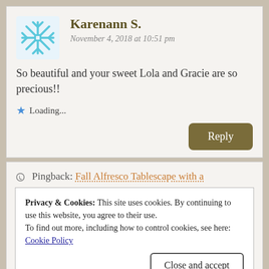[Figure (illustration): Snowflake avatar icon in light blue for user Karenann S.]
Karenann S.
November 4, 2018 at 10:51 pm
So beautiful and your sweet Lola and Gracie are so precious!!
Loading...
Reply
Pingback: Fall Alfresco Tablescape with a
Privacy & Cookies: This site uses cookies. By continuing to use this website, you agree to their use.
To find out more, including how to control cookies, see here:
Cookie Policy
Close and accept
November 5, 2018 at 9:00 am